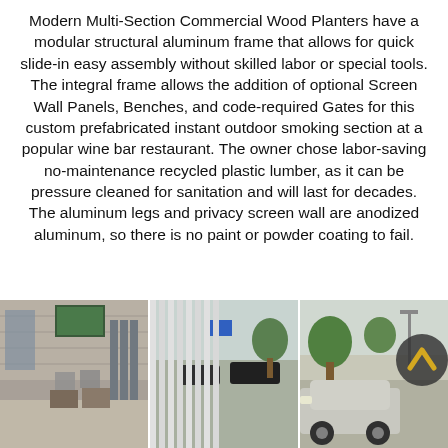Modern Multi-Section Commercial Wood Planters have a modular structural aluminum frame that allows for quick slide-in easy assembly without skilled labor or special tools. The integral frame allows the addition of optional Screen Wall Panels, Benches, and code-required Gates for this custom prefabricated instant outdoor smoking section at a popular wine bar restaurant. The owner chose labor-saving no-maintenance recycled plastic lumber, as it can be pressure cleaned for sanitation and will last for decades. The aluminum legs and privacy screen wall are anodized aluminum, so there is no paint or powder coating to fail.
[Figure (photo): Three side-by-side outdoor photos showing commercial wood planter installations: left shows an outdoor seating area with furniture and planters, center shows a privacy screen wall with cars in background, right shows another outdoor installation with trees and a vehicle visible.]